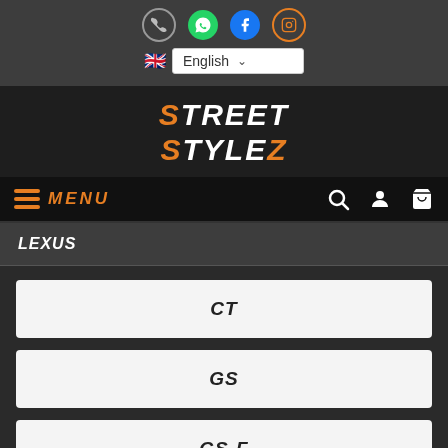[Figure (screenshot): Website header with social media icons (phone, WhatsApp, Facebook, Instagram), language selector showing English with UK flag, Street Stylez logo, navigation bar with hamburger menu labeled MENU and icons for search, user, and cart, followed by LEXUS section header and model buttons CT, GS, GS-F]
Street Stylez - LEXUS category page
LEXUS
CT
GS
GS-F